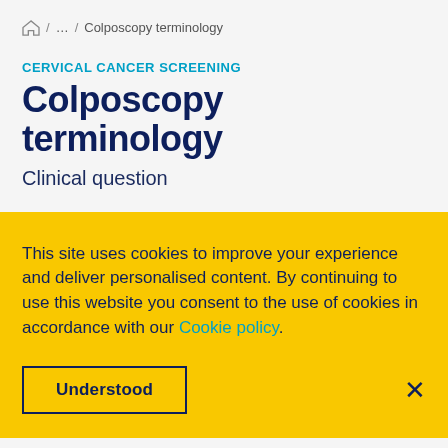⌂ / … / Colposcopy terminology
CERVICAL CANCER SCREENING
Colposcopy terminology
Clinical question
This site uses cookies to improve your experience and deliver personalised content. By continuing to use this website you consent to the use of cookies in accordance with our Cookie policy.
Understood